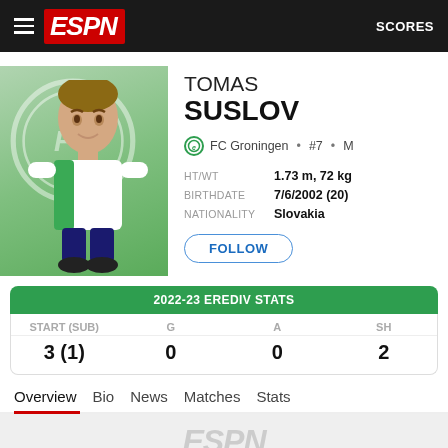ESPN — SCORES
TOMAS SUSLOV
FC Groningen • #7 • M
| HT/WT | BIRTHDATE | NATIONALITY |
| --- | --- | --- |
| 1.73 m, 72 kg | 7/6/2002 (20) | Slovakia |
FOLLOW
| START (SUB) | G | A | SH |
| --- | --- | --- | --- |
| 3 (1) | 0 | 0 | 2 |
2022-23 EREDIV STATS
Overview  Bio  News  Matches  Stats